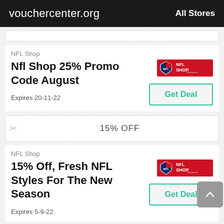vouchercenter.org | All Stores
[Figure (other): Dashed coupon separator line at top of card 1]
NFL Shop
Nfl Shop 25% Promo Code August
Expires 20-11-22
[Figure (logo): NFL Shop logo - red background with NFL shield and NFL SHOP text]
Get Deal
[Figure (other): Dashed coupon strip with scissors icon showing 15% OFF]
NFL Shop
15% Off, Fresh NFL Styles For The New Season
Expires 5-9-22
[Figure (logo): NFL Shop logo - red background with NFL shield and NFL SHOP text]
Get Deal
[Figure (other): Scissors icon at bottom indicating another coupon begins]